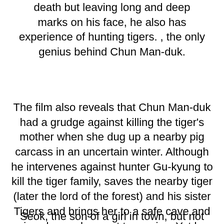death but leaving long and deep marks on his face, he also has experience of hunting tigers. , the only genius behind Chun Man-duk.
The film also reveals that Chun Man-duk had a grudge against killing the tiger's mother when she dug up a nearby pig carcass in an uncertain winter. Although he intervenes against hunter Gu-kyung to kill the tiger family, saves the nearby tiger (later the lord of the forest) and his sister Tigers and brings her to a safe cave and gives her a pheasant to survive. Yet he often cares about it, and after that, the lion's death disappears. The tiger soon died as he could not survive.
Seok, the son of a girl in town, but not